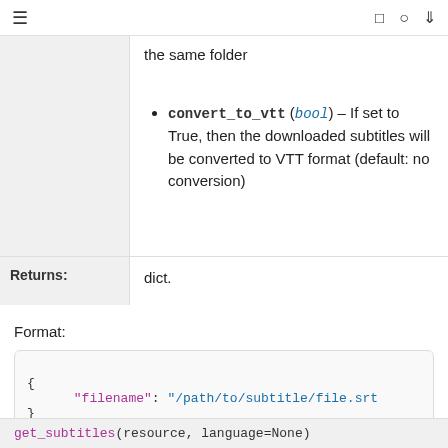≡  [ ]  (github icon)  (download icon)
the same folder
convert_to_vtt (bool) – If set to True, then the downloaded subtitles will be converted to VTT format (default: no conversion)
Returns:  dict.
Format:
{
    "filename": "/path/to/subtitle/file.srt"
}
get_subtitles(resource, language=None)